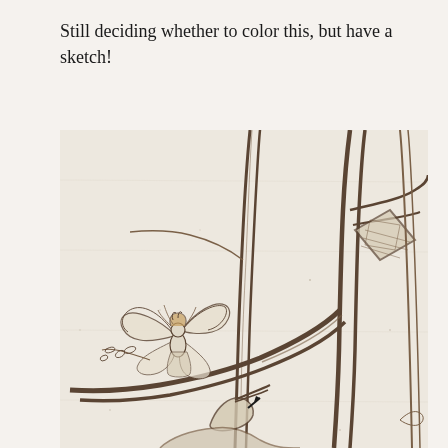Still deciding whether to color this, but have a sketch!
[Figure (illustration): A pencil/ink sketch on aged paper showing tall vertical tree trunks or branches on the right side with a small fairy figure perched on a branch in the lower left. The fairy has wings and flowing hair, holding a small branch with leaves. The sketch style is sepia-toned with detailed linework showing bark texture and a creature or animal partially visible at the bottom center.]